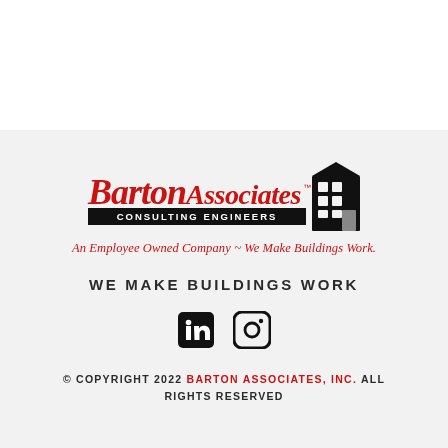[Figure (logo): Barton Associates Consulting Engineers logo with building illustration, tagline 'An Employee Owned Company ~ We Make Buildings Work.']
WE MAKE BUILDINGS WORK
[Figure (other): LinkedIn and Instagram social media icons]
© COPYRIGHT 2022 BARTON ASSOCIATES, INC. ALL RIGHTS RESERVED